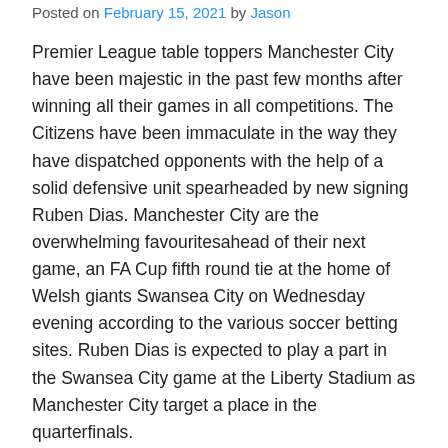Posted on February 15, 2021 by Jason
Premier League table toppers Manchester City have been majestic in the past few months after winning all their games in all competitions. The Citizens have been immaculate in the way they have dispatched opponents with the help of a solid defensive unit spearheaded by new signing Ruben Dias. Manchester City are the overwhelming favouritesahead of their next game, an FA Cup fifth round tie at the home of Welsh giants Swansea City on Wednesday evening according to the various soccer betting sites. Ruben Dias is expected to play a part in the Swansea City game at the Liberty Stadium as Manchester City target a place in the quarterfinals.